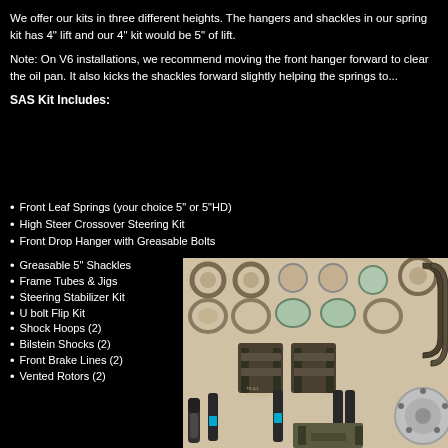We offer our kits in three different heights. The hangers and shackles in our spring kit has 4" lift and our 4" kit would be 5" of lift.
Note: On V6 installations, we recommend moving the front hanger forward to clear the oil pan. It also kicks the shackles forward slightly helping the springs to...
SAS Kit Includes:
Front Leaf Springs (your choice 5" or 5"HD)
High Steer Crossover Steering Kit
Front Drop Hanger with Greasable Bolts
Greasable 5" Shackles
Frame Tubes & Jigs
Steering Stabilizer Kit
U bolt Flip Kit
Shock Hoops (2)
Bilstein Shocks (2)
Front Brake Lines (2)
Vented Rotors (2)
[Figure (photo): Photo of SAS suspension kit components including bearings, gaskets, U-bolts, spring hangers, shackles, Bilstein shocks, and other hardware laid out on a white background]